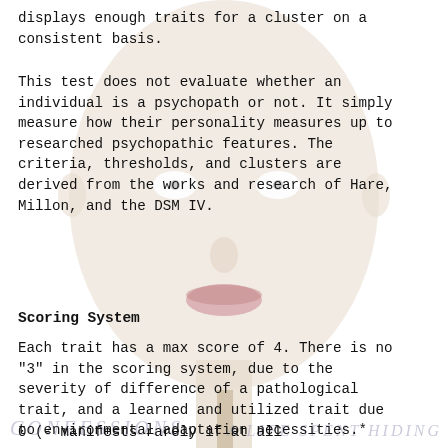displays enough traits for a cluster on a consistent basis.
This test does not evaluate whether an individual is a psychopath or not. It simply measure how their personality measures up to researched psychopathic features. The criteria, thresholds, and clusters are derived from the works and research of Hare, Millon, and the DSM IV.
Scoring System
Each trait has a max score of 4. There is no "3" in the scoring system, due to the severity of difference of a pathological trait, and a learned and utilized trait due to environmental adaptation necessities.*
0 (- manifests rarely if at all